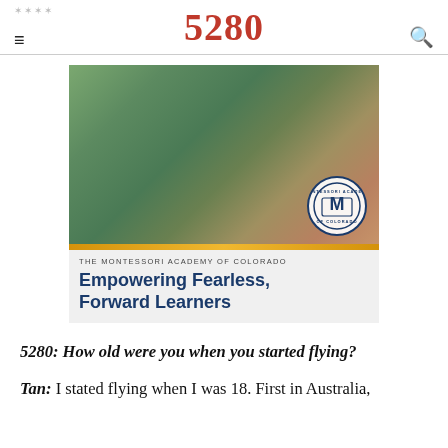5280
[Figure (photo): Advertisement for The Montessori Academy of Colorado showing two children working together on the floor with colorful educational materials in a Montessori classroom. Below the photo is a yellow bar and a gray section with the academy logo and text 'THE MONTESSORI ACADEMY OF COLORADO' and 'Empowering Fearless, Forward Learners']
5280: How old were you when you started flying?
Tan: I stated flying when I was 18. First in Australia, then the UK and finally America.